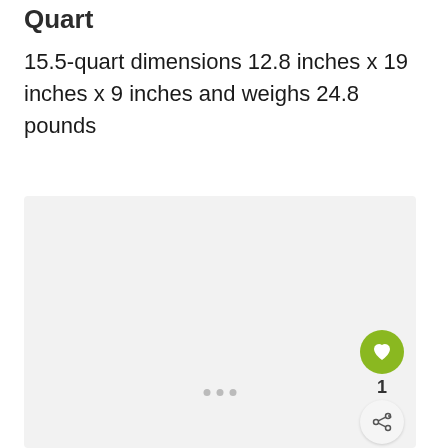Quart
15.5-quart dimensions 12.8 inches x 19 inches x 9 inches and weighs 24.8 pounds
[Figure (photo): Light gray placeholder image area with three dots indicating an image carousel, and floating action buttons for favorite (heart icon, count 1) and share on the right side]